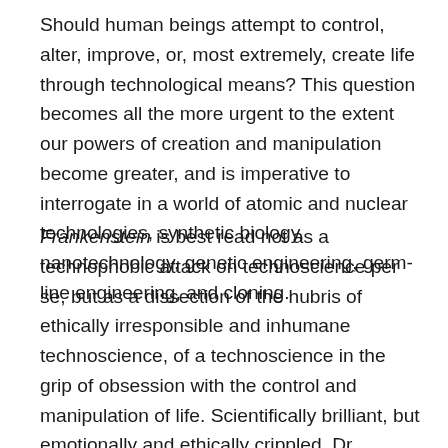Should human beings attempt to control, alter, improve, or, most extremely, create life through technological means? This question becomes all the more urgent to the extent our powers of creation and manipulation become greater, and is imperative to interrogate in a world of atomic and nuclear technologies, synthetic biology, nanotechnology, genetic engineering, germ-line engineering, and cloning.
Frankenstein is best read not as a technophobic attack on technoscience per se, but as a dissection of the hubris of ethically irresponsible and inhumane technoscience, of a technoscience in the grip of obsession with the control and manipulation of life. Scientifically brilliant, but emotionally and ethically crippled, Dr. Frankenstein proved himself to be the real monster, as the “monster” emerged as far more human. The novel confirms Ashley Montague’s insight that “an intelligence that is not humane is the most dangerous